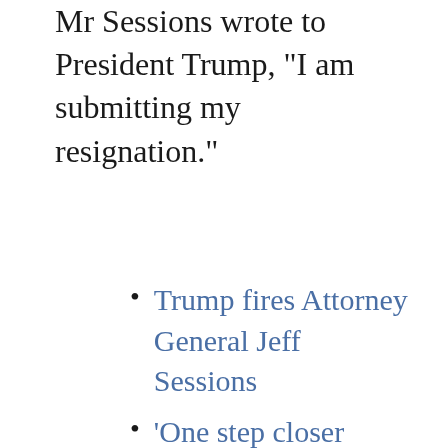Mr Sessions wrote to President Trump, "I am submitting my resignation."
Trump fires Attorney General Jeff Sessions
'One step closer